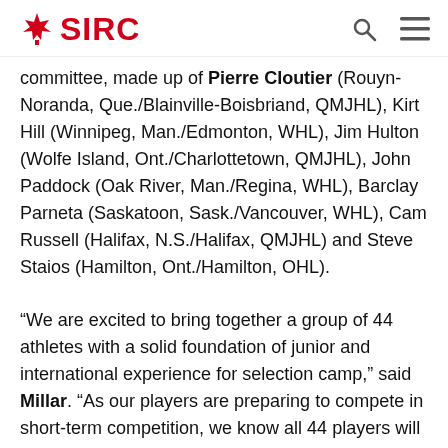SIRC
committee, made up of Pierre Cloutier (Rouyn-Noranda, Que./Blainville-Boisbriand, QMJHL), Kirt Hill (Winnipeg, Man./Edmonton, WHL), Jim Hulton (Wolfe Island, Ont./Charlottetown, QMJHL), John Paddock (Oak River, Man./Regina, WHL), Barclay Parneta (Saskatoon, Sask./Vancouver, WHL), Cam Russell (Halifax, N.S./Halifax, QMJHL) and Steve Staios (Hamilton, Ont./Hamilton, OHL).
“We are excited to bring together a group of 44 athletes with a solid foundation of junior and international experience for selection camp,” said Millar. “As our players are preparing to compete in short-term competition, we know all 44 players will come to camp ready to compete for a spot on the team and the